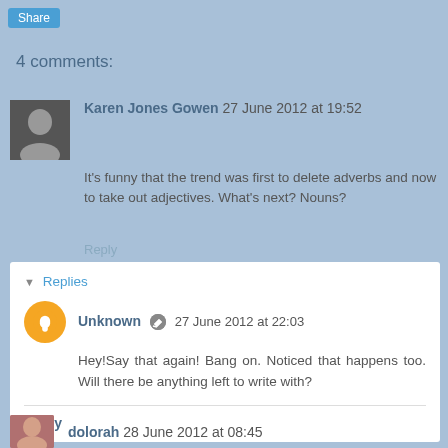Share
4 comments:
Karen Jones Gowen 27 June 2012 at 19:52
It's funny that the trend was first to delete adverbs and now to take out adjectives. What's next? Nouns?
Reply
Replies
Unknown 27 June 2012 at 22:03
Hey!Say that again! Bang on. Noticed that happens too. Will there be anything left to write with?
Reply
dolorah 28 June 2012 at 08:45